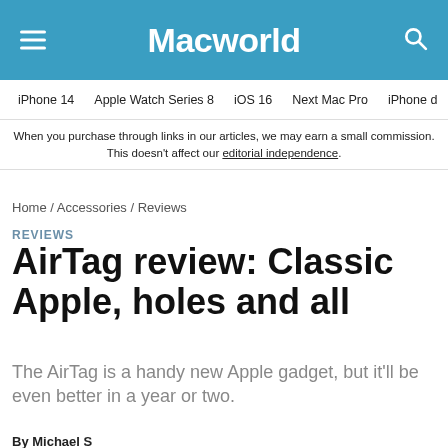Macworld
iPhone 14  Apple Watch Series 8  iOS 16  Next Mac Pro  iPhone d
When you purchase through links in our articles, we may earn a small commission. This doesn't affect our editorial independence.
Home / Accessories / Reviews
REVIEWS
AirTag review: Classic Apple, holes and all
The AirTag is a handy new Apple gadget, but it'll be even better in a year or two.
By Michael S...